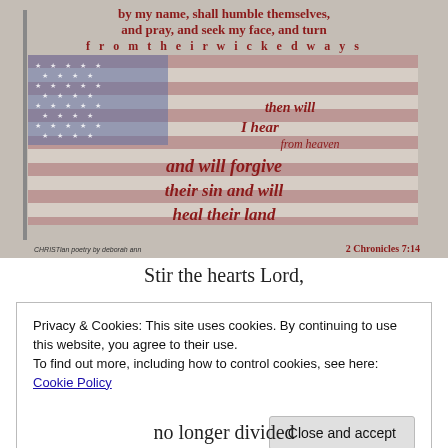[Figure (illustration): An American flag with Bible verse text overlaid in dark red. The flag has red and white stripes, blue canton with stars, waving against a light textured background. Text on image reads: 'by my name, shall humble themselves, and pray, and seek my face, and turn from their wicked ways then will I hear from heaven and will forgive their sin and will heal their land'. Attribution: 'CHRISTian poetry by deborah ann' and '2 Chronicles 7:14']
Stir the hearts Lord,
Privacy & Cookies: This site uses cookies. By continuing to use this website, you agree to their use.
To find out more, including how to control cookies, see here: Cookie Policy
Close and accept
no longer divided